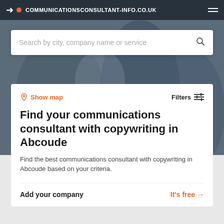COMMUNICATIONSCONSULTANT-INFO.CO.UK
[Figure (screenshot): Search input box with placeholder text and search icon]
Show map
Filters
Find your communications consultant with copywriting in Abcoude
Find the best communications consultant with copywriting in Abcoude based on your criteria.
Add your company
It's free →